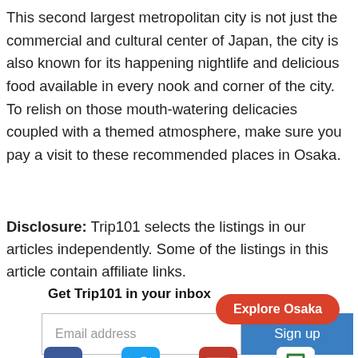This second largest metropolitan city is not just the commercial and cultural center of Japan, the city is also known for its happening nightlife and delicious food available in every nook and corner of the city. To relish on those mouth-watering delicacies coupled with a themed atmosphere, make sure you pay a visit to these recommended places in Osaka.
Disclosure: Trip101 selects the listings in our articles independently. Some of the listings in this article contain affiliate links.
Get Trip101 in your inbox
[Figure (other): Explore Osaka red pill-shaped button overlay]
Email address
Sign up
[Figure (other): Social media icons: Facebook, Twitter, Email, Bookmark]